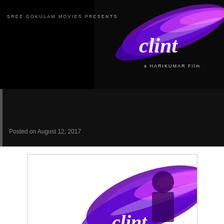[Figure (photo): Movie banner for 'Clint' — black background with purple and pink paint-brush graphic, text 'SREE GOKULAM MOVIES PRESENTS', stylized 'clint' title, and 'a HARIKUMAR FILM' text.]
Clint
Posted on August 12, 2017
[Figure (photo): Movie poster for 'Clint' — white background on left with 'SREE GOKULAM MOVIES PRESENTS' text, right side shows purple/pink paint-brush graphic with silhouette of a person and stylized 'clint' logo, 'a HARIKUMAR FILM' text at bottom.]
What is the movie about? :: Edmund Thomas Clint (Master Alok) is the only son of MT Joseph (Unni Mukundan) and Chinnamma